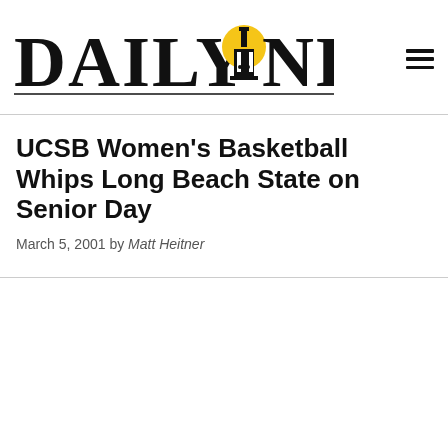DAILY NEXUS
UCSB Women's Basketball Whips Long Beach State on Senior Day
March 5, 2001 by Matt Heitner